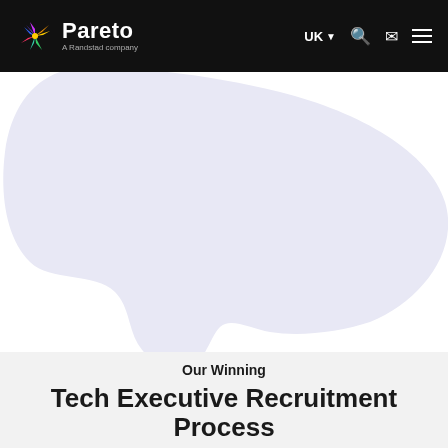Pareto — A Randstad company | UK navigation
[Figure (illustration): Abstract lavender/light purple blob shape on white background, decorative design element for hero section]
Our Winning
Tech Executive Recruitment Process